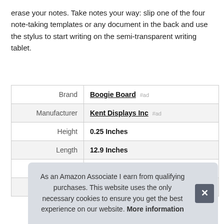erase your notes. Take notes your way: slip one of the four note-taking templates or any document in the back and use the stylus to start writing on the semi-transparent writing tablet.
| Brand | Boogie Board #ad |
| Manufacturer | Kent Displays Inc #ad |
| Height | 0.25 Inches |
| Length | 12.9 Inches |
| Weight | 1.1 Pounds |
| P |  |
As an Amazon Associate I earn from qualifying purchases. This website uses the only necessary cookies to ensure you get the best experience on our website. More information